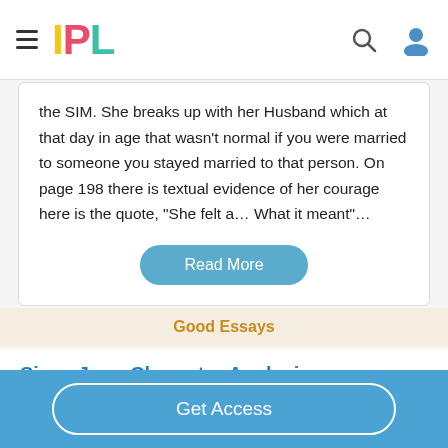IPL
the SIM. She breaks up with her Husband which at that day in age that wasn't normal if you were married to someone you stayed married to that person. On page 198 there is textual evidence of her courage here is the quote, “She felt a… What it meant”…
Read More
Good Essays
Sissy Jupe Character Analysis
Get Access